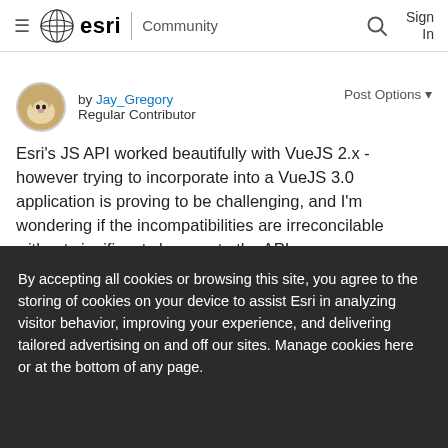esri Community — Sign In
by Jay_Gregory Regular Contributor Post Options ▾
Esri's JS API worked beautifully with VueJS 2.x - however trying to incorporate into a VueJS 3.0 application is proving to be challenging, and I'm wondering if the incompatibilities are irreconcilable without significant changes to the API.
By accepting all cookies or browsing this site, you agree to the storing of cookies on your device to assist Esri in analyzing visitor behavior, improving your experience, and delivering tailored advertising on and off our sites. Manage cookies here or at the bottom of any page.